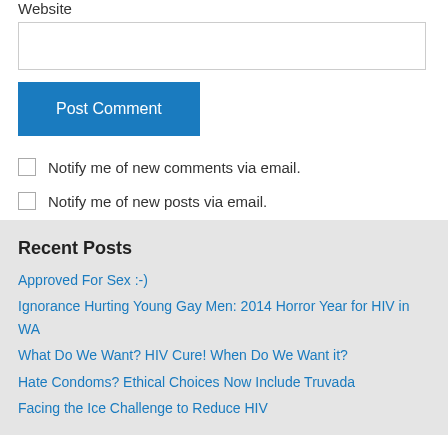Website
Post Comment
Notify me of new comments via email.
Notify me of new posts via email.
Recent Posts
Approved For Sex :-)
Ignorance Hurting Young Gay Men: 2014 Horror Year for HIV in WA
What Do We Want? HIV Cure! When Do We Want it?
Hate Condoms? Ethical Choices Now Include Truvada
Facing the Ice Challenge to Reduce HIV